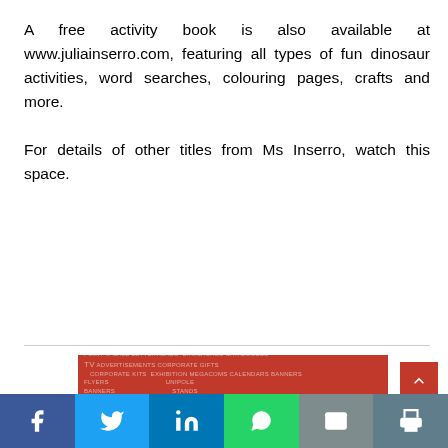A free activity book is also available at www.juliainserro.com, featuring all types of fun dinosaur activities, word searches, colouring pages, crafts and more.

For details of other titles from Ms Inserro, watch this space.
[Figure (infographic): Red advertisement banner reading 'Effective design is good business' with various design service words in the background]